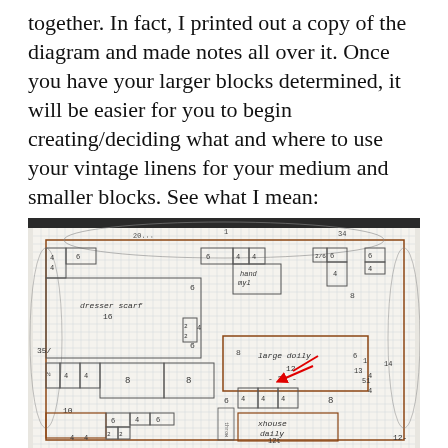together. In fact, I printed out a copy of the diagram and made notes all over it. Once you have your larger blocks determined, it will be easier for you to begin creating/deciding what and where to use your vintage linens for your medium and smaller blocks. See what I mean:
[Figure (photo): A hand-drawn quilt block diagram on graph paper with penciled measurements and labels including 'dresser scarf 16', 'large doily', 'throw daily 12', dimensions like 4, 6, 8, 10, 12, 16, 26, and a red arrow pointing to a section labeled '-26-' and '12'.]